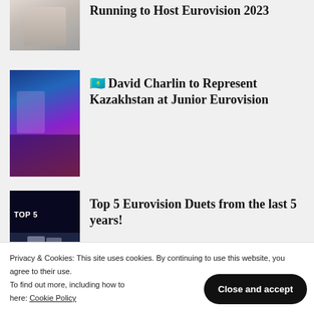[Figure (photo): Partial article thumbnail showing a performer in white outfit]
Running to Host Eurovision 2023
[Figure (photo): Performer on stage with colorful lighting, another person in wheelchair]
🇰🇿 David Charlin to Represent Kazakhstan at Junior Eurovision
[Figure (photo): Dark stage with TOP 5 text overlay and two performers]
Top 5 Eurovision Duets from the last 5 years!
[Figure (photo): Dark thumbnail with text overlay and person's face]
Eurovision 2020
Privacy & Cookies: This site uses cookies. By continuing to use this website, you agree to their use. To find out more, including how to Cookie Policy